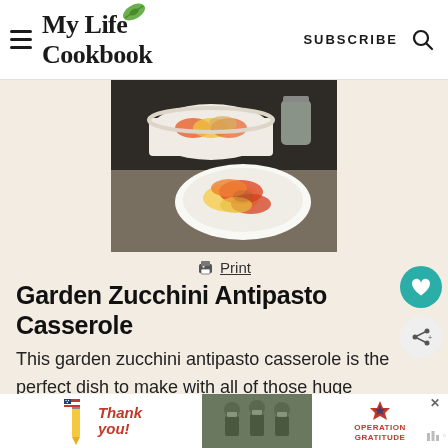My Life Cookbook — SUBSCRIBE
[Figure (photo): A white casserole dish and a white plate with sliced zucchini, tomatoes, and other vegetables arranged in a colorful antipasto casserole, on a dark wooden surface. A jar of nuts is visible in the background.]
🖨 Print
Garden Zucchini Antipasto Casserole
This garden zucchini antipasto casserole is the perfect dish to make with all of those huge zucchini you get
[Figure (infographic): Advertisement banner: 'Thank you!' text with US flag design and pencil graphic on the left; soldiers in camouflage in the center; Operation Gratitude logo on the right with a red star and blue star.]